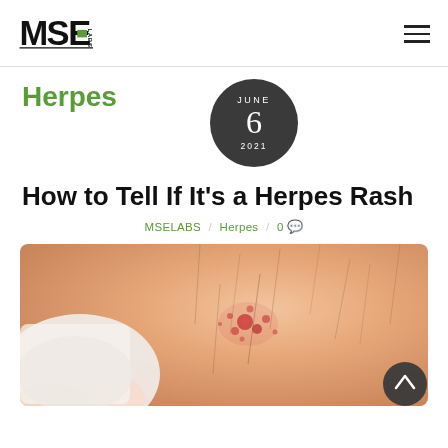MSE LABS
Herpes
JUNE 6 2021
How to Tell If It's a Herpes Rash
MSELABS / Herpes / 0
[Figure (photo): Close-up photo of skin showing a herpes rash with red sores/blisters, with a finger/hand visible in the lower left corner.]